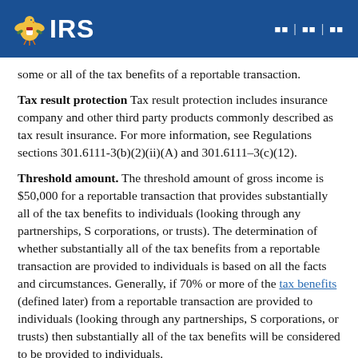IRS
some or all of the tax benefits of a reportable transaction.
Tax result protection Tax result protection includes insurance company and other third party products commonly described as tax result insurance. For more information, see Regulations sections 301.6111-3(b)(2)(ii)(A) and 301.6111–3(c)(12).
Threshold amount. The threshold amount of gross income is $50,000 for a reportable transaction that provides substantially all of the tax benefits to individuals (looking through any partnerships, S corporations, or trusts). The determination of whether substantially all of the tax benefits from a reportable transaction are provided to individuals is based on all the facts and circumstances. Generally, if 70% or more of the tax benefits (defined later) from a reportable transaction are provided to individuals (looking through any partnerships, S corporations, or trusts) then substantially all of the tax benefits will be considered to be provided to individuals.